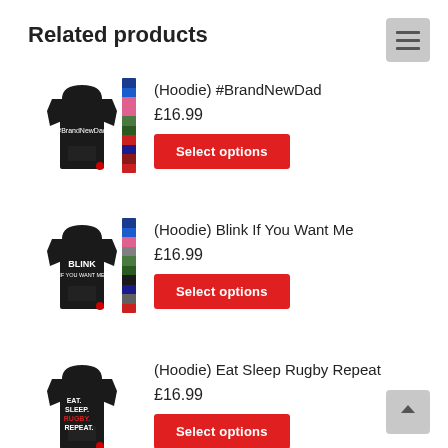Related products
[Figure (photo): Black hoodie with #BrandNewDad text, shown with color swatch strip]
(Hoodie) #BrandNewDad
£16.99
Select options
[Figure (photo): Black hoodie with BLINK IF YOU WANT ME text, shown with color swatch strip]
(Hoodie) Blink If You Want Me
£16.99
Select options
[Figure (photo): Black hoodie with EAT. SLEEP. RUGBY. REPEAT. text]
(Hoodie) Eat Sleep Rugby Repeat
£16.99
Select options